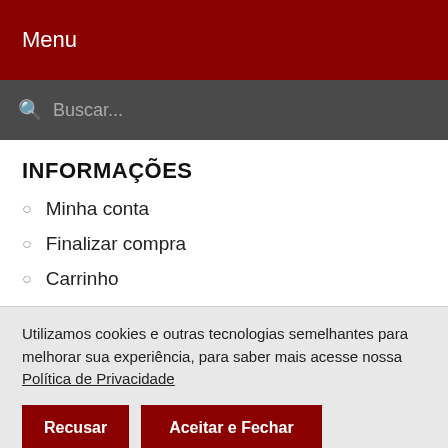Menu
Buscar...
INFORMAÇÕES
Minha conta
Finalizar compra
Carrinho
Utilizamos cookies e outras tecnologias semelhantes para melhorar sua experiência, para saber mais acesse nossa Política de Privacidade
Recusar | Aceitar e Fechar